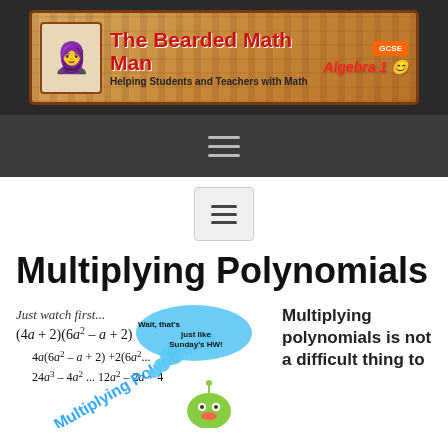[Figure (logo): The Bearded Math Man website banner — brick background, logo with bearded man face, red bold title 'The Bearded Math Man', subtitle 'Helping Students and Teachers with Math', GCSE badge, Algebra 1 text]
[Figure (screenshot): Dark navigation bar with hamburger menu icon (three horizontal lines)]
[Figure (screenshot): Light gray box with hamburger menu icon (three horizontal lines) — secondary navigation]
Multiplying Polynomials
[Figure (math-figure): Math worksheet showing: 'Just watch first... (4a + 2)(6a² – a + 2)' with step 4a(6a² – a + 2) + 2(6a²...) and 24a³ – 4a² ... 12a² – 2a + 4, overlaid with 'Multiplying Polynomials' diagonal text and a cartoon character with speech bubble 'Wait, that's just like Sunday's HW!']
Multiplying polynomials is not a difficult thing to